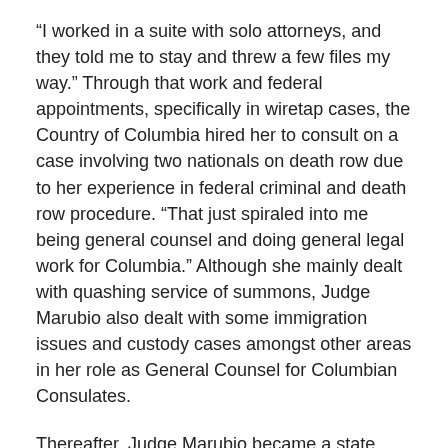“I worked in a suite with solo attorneys, and they told me to stay and threw a few files my way.” Through that work and federal appointments, specifically in wiretap cases, the Country of Columbia hired her to consult on a case involving two nationals on death row due to her experience in federal criminal and death row procedure. “That just spiraled into me being general counsel and doing general legal work for Columbia.” Although she mainly dealt with quashing service of summons, Judge Marubio also dealt with some immigration issues and custody cases amongst other areas in her role as General Counsel for Columbian Consulates.
Thereafter, Judge Marubio became a state prosecutor at the Illinois Department of Financial and Professional Regulation in 2012 and served as the agency’s Ethics Officer. In 2014, “I was lucky enough to become an Administrative Law Judge for the agency when I knew that I wanted to maybe take that direction.” As an Administrative Law Judge, Judge Marubio gained the